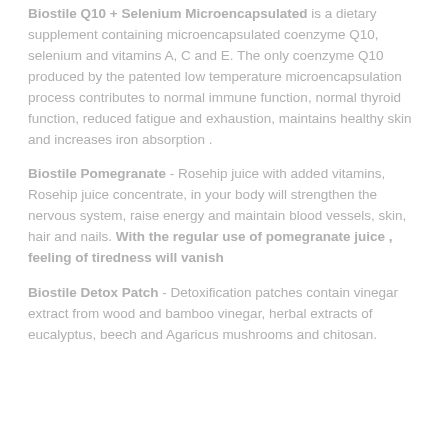Biostile Q10 + Selenium Microencapsulated is a dietary supplement containing microencapsulated coenzyme Q10, selenium and vitamins A, C and E. The only coenzyme Q10 produced by the patented low temperature microencapsulation process contributes to normal immune function, normal thyroid function, reduced fatigue and exhaustion, maintains healthy skin and increases iron absorption .
Biostile Pomegranate - Rosehip juice with added vitamins, Rosehip juice concentrate, in your body will strengthen the nervous system, raise energy and maintain blood vessels, skin, hair and nails. With the regular use of pomegranate juice , feeling of tiredness will vanish
Biostile Detox Patch - Detoxification patches contain vinegar extract from wood and bamboo vinegar, herbal extracts of eucalyptus, beech and Agaricus mushrooms and chitosan.